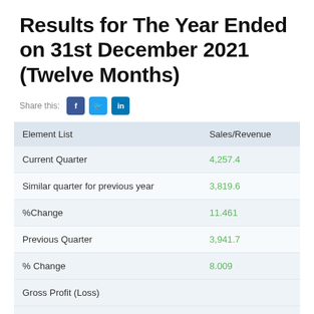Results for The Year Ended on 31st December 2021 (Twelve Months)
Share this:
| Element List | Sales/Revenue |
| --- | --- |
| Current Quarter | 4,257.4 |
| Similar quarter for previous year | 3,819.6 |
| %Change | 11.461 |
| Previous Quarter | 3,941.7 |
| % Change | 8.009 |
| Gross Profit (Loss) |  |
| Current Quarter | 1,192.7 |